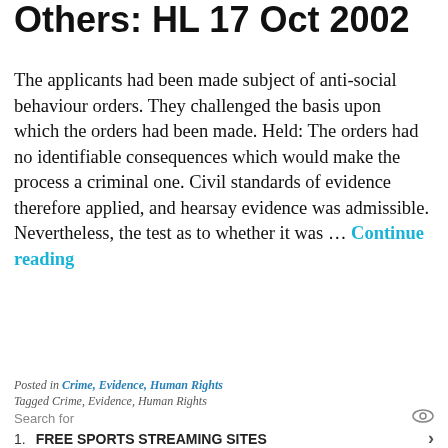Others: HL 17 Oct 2002
The applicants had been made subject of anti-social behaviour orders. They challenged the basis upon which the orders had been made. Held: The orders had no identifiable consequences which would make the process a criminal one. Civil standards of evidence therefore applied, and hearsay evidence was admissible. Nevertheless, the test as to whether it was ... Continue reading
[Figure (infographic): Chat banner with teal background: 'Want to ask a Solicitor online now? I can connect you ...' with avatar image of a woman and a red notification badge showing 1.]
Posted in Crime, Evidence, Human Rights
Tagged Crime, Evidence, Human Rights
Search for
1. FREE SPORTS STREAMING SITES
2. SMALL BUSINESS LAPTOPS